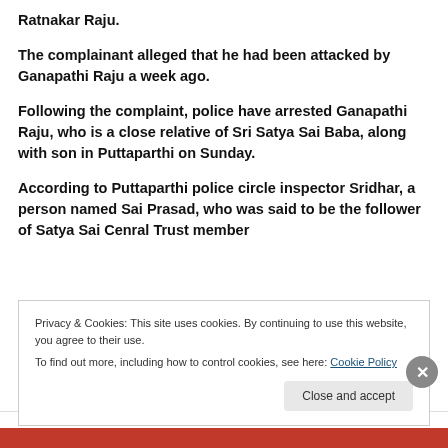Ratnakar Raju.
The complainant alleged that he had been attacked by Ganapathi Raju a week ago.
Following the complaint, police have arrested Ganapathi Raju, who is a close relative of Sri Satya Sai Baba, along with son in Puttaparthi on Sunday.
According to Puttaparthi police circle inspector Sridhar, a person named Sai Prasad, who was said to be the follower of Satya Sai Cenral Trust member
Privacy & Cookies: This site uses cookies. By continuing to use this website, you agree to their use.
To find out more, including how to control cookies, see here: Cookie Policy
Close and accept
Advertisements